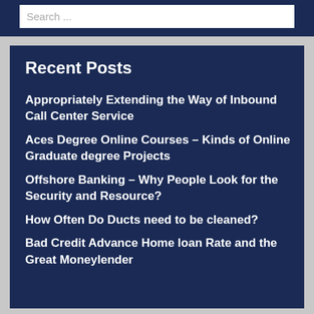Search ...
Recent Posts
Appropriately Extending the Way of Inbound Call Center Service
Aces Degree Online Courses – Kinds of Online Graduate degree Projects
Offshore Banking – Why People Look for the Security and Resource?
How Often Do Ducts need to be cleaned?
Bad Credit Advance Home loan Rate and the Great Moneylender